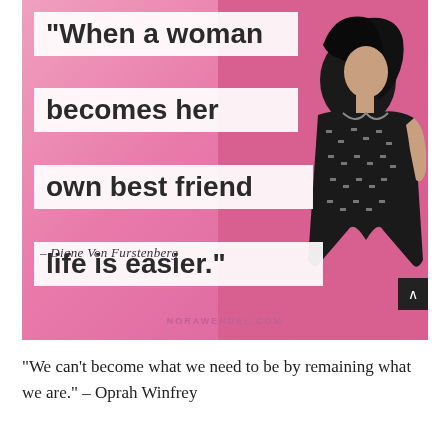[Figure (infographic): Pink background inspirational quote image with a black-and-white photo of Diane Von Furstenberg on the right side. White banner strips contain large bold text: 'When a woman becomes her own best friend life is easier.' Attribution reads '– Diane Von Furstenberg'. Website 'NORAWENDEL.COM' at bottom.]
“We can’t become what we need to be by remaining what we are.” – Oprah Winfrey